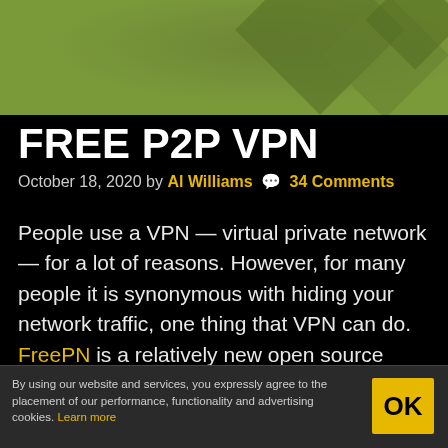[Figure (illustration): Green decorative header banner with geometric diamond/chevron shapes in darker green tones]
FREE P2P VPN
October 18, 2020 by Al Williams 💬 34 Comments
People use a VPN — virtual private network — for a lot of reasons. However, for many people it is synonymous with hiding your network traffic, one thing that VPN can do. FreePN is a relatively new open source project that aims to build a free peer-to-peer VPN network. Like
By using our website and services, you expressly agree to the placement of our performance, functionality and advertising cookies. Learn more